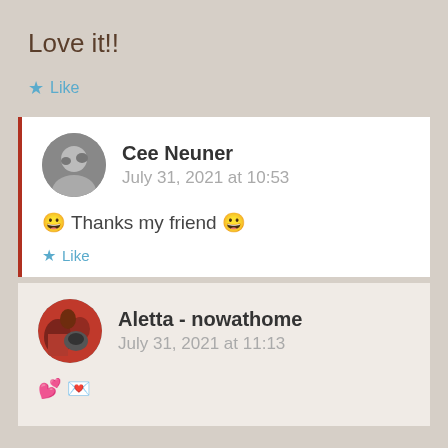Love it!!
★ Like
Cee Neuner
July 31, 2021 at 10:53
😀 Thanks my friend 😀
★ Like
Aletta - nowathome
July 31, 2021 at 11:13
💕 💐